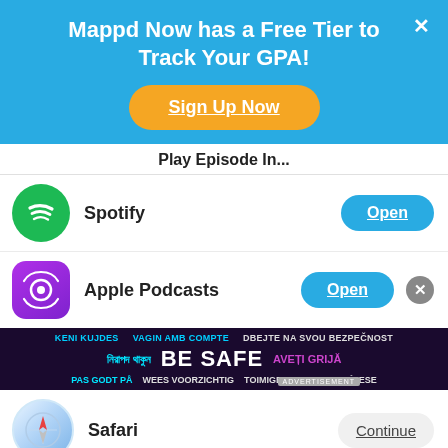Mappd Now has a Free Tier to Track Your GPA!
Sign Up Now
Play Episode In...
Spotify  Open
Apple Podcasts  Open
[Figure (infographic): BE SAFE multilingual ad banner with text in multiple languages on dark background]
Safari  Continue
Social share bar: 19 SHARES with Facebook, Twitter, Pinterest, LinkedIn buttons